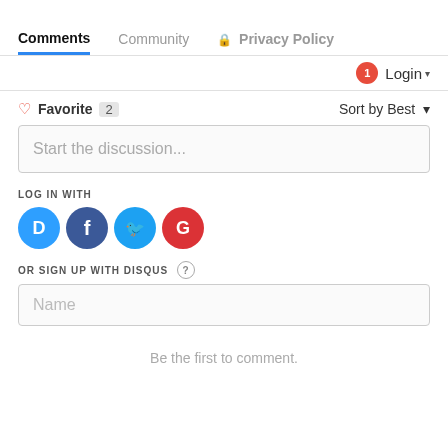Comments   Community   Privacy Policy
1  Login ▾
♡ Favorite  2    Sort by Best ▾
Start the discussion...
LOG IN WITH
[Figure (illustration): Row of social login icons: Disqus (blue), Facebook (dark blue), Twitter (light blue), Google (red)]
OR SIGN UP WITH DISQUS ?
Name
Be the first to comment.